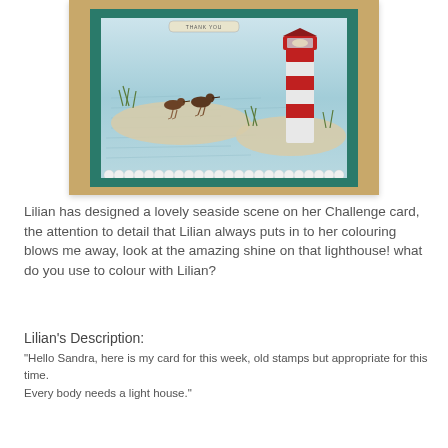[Figure (photo): A handmade greeting card with a lighthouse seaside scene, featuring two shorebirds, a red-and-white striped lighthouse, ocean waves, sea grass, and a 'Thank You' label at the top. The card has a teal green border and scalloped white inner border, displayed on a wooden background.]
Lilian has designed a lovely seaside scene on her Challenge card, the attention to detail that Lilian always puts in to her colouring blows me away, look at the amazing shine on that lighthouse!  what do you use to colour with Lilian?
Lilian's Description:
"Hello Sandra, here is my card for this week, old stamps but appropriate for this time.
Every body needs a light house."